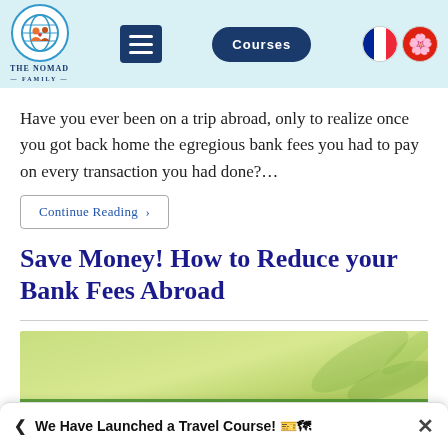[Figure (screenshot): Navigation bar with The Nomad Family logo, hamburger menu, Courses button, French flag, and Hong Kong flag]
Have you ever been on a trip abroad, only to realize once you got back home the egregious bank fees you had to pay on every transaction you had done?…
Continue Reading >
Save Money! How to Reduce your Bank Fees Abroad
[Figure (illustration): Background image of green plants/leaves with overlay text 'Generate a Passive Income']
Generate a Passive Income
We Have Launched a Travel Course! 🎫🗺